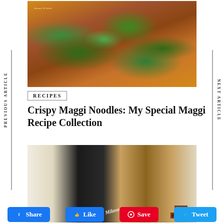[Figure (photo): Close-up photo of Crispy Maggi Noodles topped with chopped green bell peppers and onions in a reddish-orange sauce. A small logo/watermark is visible in the top-left corner of the image.]
RECIPES
Crispy Maggi Noodles: My Special Maggi Recipe Collection
[Figure (photo): Partial photo at the bottom showing a Milano chocolate product with dark packaging and round chocolate pieces.]
Share
Like
Save
Tweet